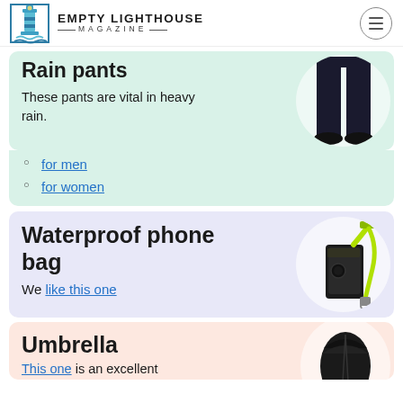EMPTY LIGHTHOUSE MAGAZINE
Rain pants
These pants are vital in heavy rain.
for men
for women
[Figure (photo): Black rain pants shown on a mannequin in a circular white background]
Waterproof phone bag
We like this one
[Figure (photo): Black waterproof phone case with yellow-green strap on a circular white background]
Umbrella
This one is an excellent